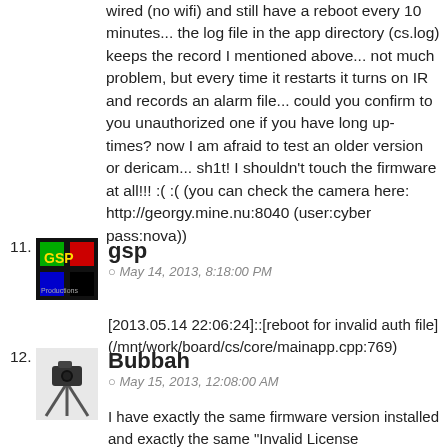wired (no wifi) and still have a reboot every 10 minutes... the log file in the app directory (cs.log) keeps the record I mentioned above... not much problem, but every time it restarts it turns on IR and records an alarm file... could you confirm to you unauthorized one if you have long up-times? now I am afraid to test an older version or dericam... sh1t! I shouldn't touch the firmware at all!!! :( :( (you can check the camera here: http://georgy.mine.nu:8040 (user:cyber pass:nova))
11. gsp — May 14, 2013, 8:18:00 PM — [2013.05.14 22:06:24]::[reboot for invalid auth file] (/mnt/work/board/cs/core/mainapp.cpp:769)
12. Bubbah — May 15, 2013, 12:08:00 AM — I have exactly the same firmware version installed and exactly the same "Invalid License